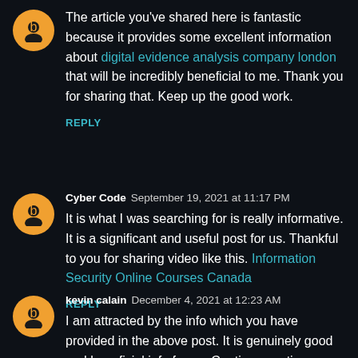The article you've shared here is fantastic because it provides some excellent information about digital evidence analysis company london that will be incredibly beneficial to me. Thank you for sharing that. Keep up the good work.
REPLY
Cyber Code   September 19, 2021 at 11:17 PM
It is what I was searching for is really informative. It is a significant and useful post for us. Thankful to you for sharing video like this. Information Security Online Courses Canada
REPLY
kevin calain   December 4, 2021 at 12:23 AM
I am attracted by the info which you have provided in the above post. It is genuinely good and beneficial info for us. Continue posting. Thank you.